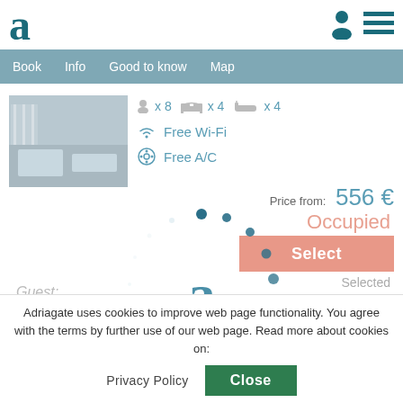[Figure (logo): Adriagate logo: large letter 'a' in teal/dark blue]
[Figure (screenshot): Navigation bar with Book, Info, Good to know, Map tabs on steel blue background]
[Figure (photo): Property interior photo showing living room with sofa]
x 8   x 4   x 4
Free Wi-Fi
Free A/C
Price from:  556 €
Occupied
Select
Selected
Guest:
[Figure (illustration): Loading spinner animation with Adriagate logo 'a' in center]
Adriagate uses cookies to improve web page functionality. You agree with the terms by further use of our web page. Read more about cookies on:
Privacy Policy
Close